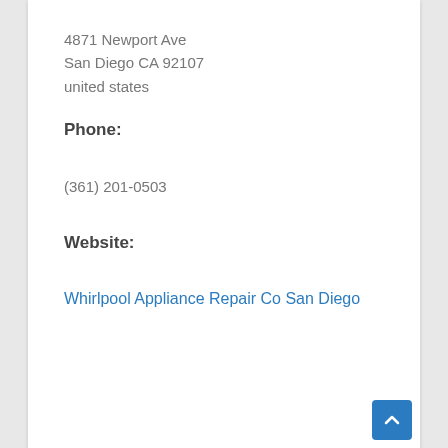4871 Newport Ave
San Diego CA 92107
united states
Phone:
(361) 201-0503
Website:
Whirlpool Appliance Repair Co San Diego